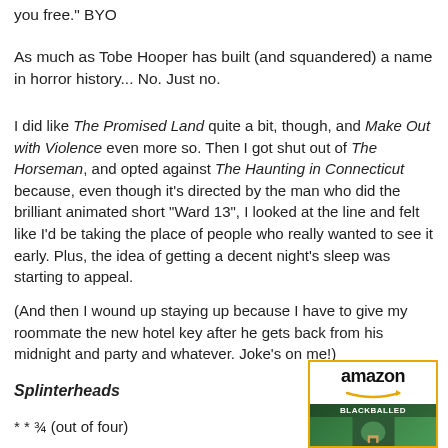you free." BYO
As much as Tobe Hooper has built (and squandered) a name in horror history... No. Just no.
I did like The Promised Land quite a bit, though, and Make Out with Violence even more so. Then I got shut out of The Horseman, and opted against The Haunting in Connecticut because, even though it's directed by the man who did the brilliant animated short "Ward 13", I looked at the line and felt like I'd be taking the place of people who really wanted to see it early. Plus, the idea of getting a decent night's sleep was starting to appeal.
(And then I wound up staying up because I have to give my roommate the new hotel key after he gets back from his midnight and party and whatever. Joke's on me!)
Splinterheads
* * ¾ (out of four)
[Figure (other): Amazon logo with orange arrow and book cover image for Blackballed]